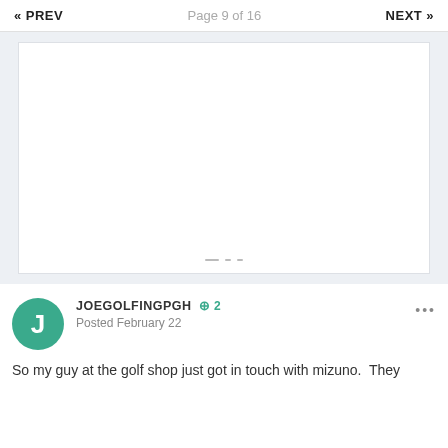« PREV   Page 9 of 16   NEXT »
[Figure (photo): Large white image/photo area with three small dots at the bottom center (image carousel or gallery), set on a light gray background.]
JOEGOLFINGPGH  +2
Posted February 22
So my guy at the golf shop just got in touch with mizuno.  They